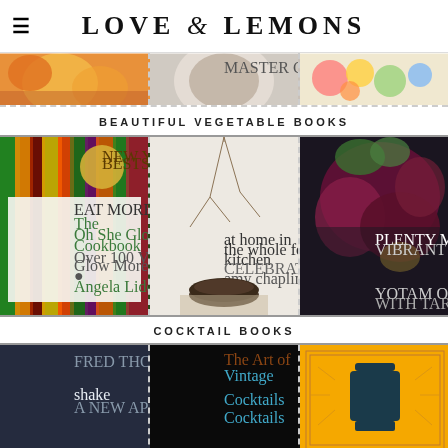LOVE & LEMONS
[Figure (photo): Three food/recipe photos partially visible at top]
BEAUTIFUL VEGETABLE BOOKS
[Figure (photo): Three vegetable cookbook covers: The Oh She Glows Cookbook by Angela Liddon, At Home in the Whole Food Kitchen by Amy Chaplin, Plenty More by Yotam Ottolenghi]
COCKTAIL BOOKS
[Figure (photo): Three cocktail book covers: Shake, The Art of Vintage Cocktails, The Bar Book]
[Figure (photo): Bottom reflections/partial views of cocktail books]